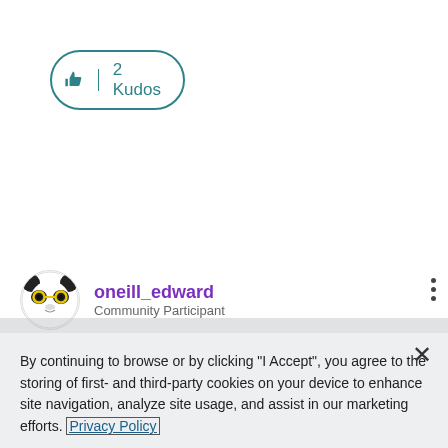[Figure (other): Thumbs up icon with 2 Kudos button, teal border rounded pill shape]
[Figure (other): User avatar: panda with glasses illustration, circular crop]
oneill_edward
Community Participant (partially visible)
By continuing to browse or by clicking "I Accept", you agree to the storing of first- and third-party cookies on your device to enhance site navigation, analyze site usage, and assist in our marketing efforts. Privacy Policy
I Accept
Cookies Settings